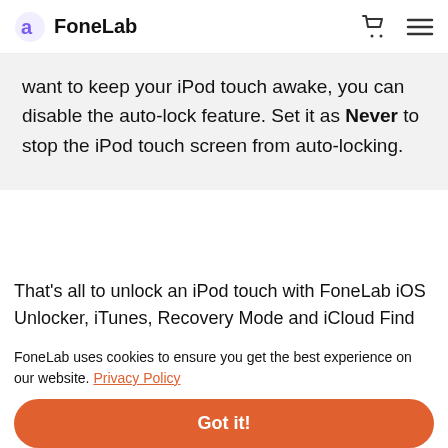FoneLab
want to keep your iPod touch awake, you can disable the auto-lock feature. Set it as Never to stop the iPod touch screen from auto-locking.
That's all to unlock an iPod touch with FoneLab iOS Unlocker, iTunes, Recovery Mode and iCloud Find My iPhone. You can get into any locked iPod touch generation without entering the passcode. Some iPod
FoneLab uses cookies to ensure you get the best experience on our website. Privacy Policy
Got it!